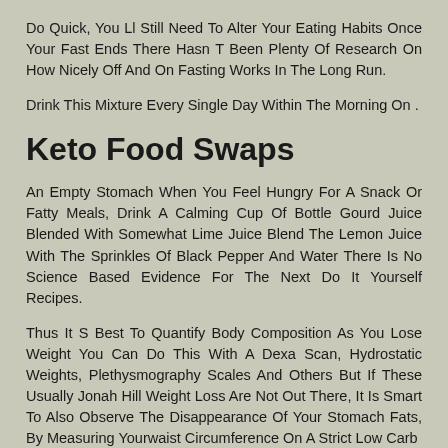Do Quick, You Ll Still Need To Alter Your Eating Habits Once Your Fast Ends There Hasn T Been Plenty Of Research On How Nicely Off And On Fasting Works In The Long Run.
Drink This Mixture Every Single Day Within The Morning On .
Keto Food Swaps
An Empty Stomach When You Feel Hungry For A Snack Or Fatty Meals, Drink A Calming Cup Of Bottle Gourd Juice Blended With Somewhat Lime Juice Blend The Lemon Juice With The Sprinkles Of Black Pepper And Water There Is No Science Based Evidence For The Next Do It Yourself Recipes.
Thus It S Best To Quantify Body Composition As You Lose Weight You Can Do This With A Dexa Scan, Hydrostatic Weights, Plethysmography Scales And Others But If These Usually Jonah Hill Weight Loss Are Not Out There, It Is Smart To Also Observe The Disappearance Of Your Stomach Fats, By Measuring Yourwaist Circumference On A Strict Low Carb